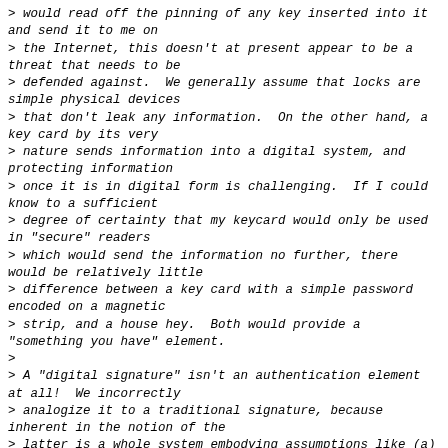> would read off the pinning of any key inserted into it and send it to me on
> the Internet, this doesn't at present appear to be a threat that needs to be
> defended against.  We generally assume that locks are simple physical devices
> that don't leak any information.  On the other hand, a key card by its very
> nature sends information into a digital system, and protecting information
> once it is in digital form is challenging.  If I could know to a sufficient
> degree of certainty that my keycard would only be used in "secure" readers
> which would send the information no further, there would be relatively little
> difference between a key card with a simple password encoded on a magnetic
> strip, and a house hey.  Both would provide a "something you have" element.
>
> A "digital signature" isn't an authentication element at all!  We incorrectly
> analogize it to a traditional signature, because inherent in the notion of the
> latter is a whole system embodying assumptions like (a) a signature instance
> is physically created by the party being authenticated; (b) we can effectively
> distinguish an instance thus created from a duplicate.  I can photocopy a